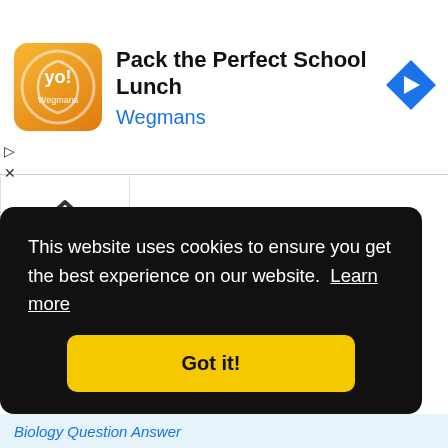[Figure (screenshot): Advertisement banner for Wegmans 'Pack the Perfect School Lunch'. Shows orange Wegmans logo square on left, title text 'Pack the Perfect School Lunch' in bold black, 'Wegmans' in blue below, and a blue navigation arrow diamond icon on the right.]
▷
✕
[Figure (screenshot): A collapsed/minimized bar with an upward caret chevron icon, indicating a collapsible UI element.]
This website uses cookies to ensure you get the best experience on our website.  Learn more
Got it!
Biology Question Answer